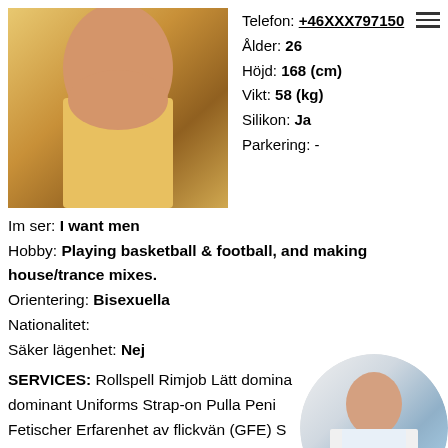[Figure (photo): Woman in yellow dress, upper body photo]
Telefon: +46XXX797150
Ålder: 26
Höjd: 168 (cm)
Vikt: 58 (kg)
Silikon: Ja
Parkering: -
Im ser: I want men
Hobby: Playing basketball & football, and making house/trance mixes.
Orientering: Bisexuella
Nationalitet:
Säker lägenhet: Nej
SERVICES: Rollspell Rimjob Lätt domina... dominant Uniforms Strap-on Pulla Penis... Fetischer Erfarenhet av flickvän (GFE) S... Bröstknulla Har flickvän Högklackat/stövla... ansiktet Tungkyssar Fista Glidande massage
[Figure (photo): Woman in white top and blue shorts, circular thumbnail]